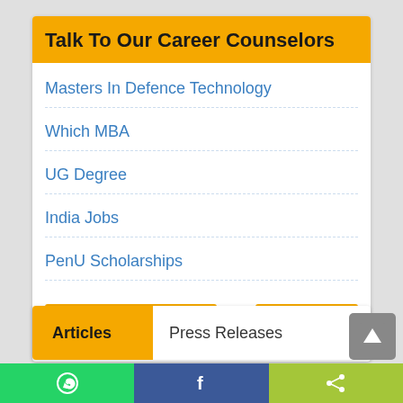Talk To Our Career Counselors
Masters In Defence Technology
Which MBA
UG Degree
India Jobs
PenU Scholarships
Ask Questions
more
Articles
Press Releases